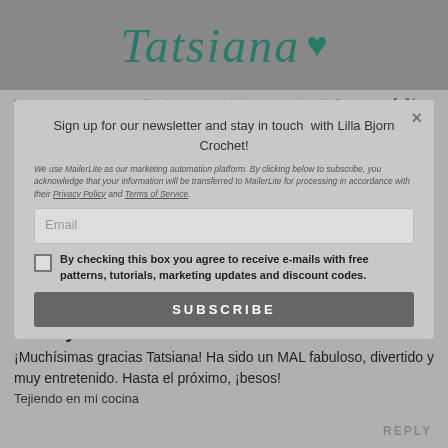Tatsiana ♥
3 COMMENTS
CATEGORIES: CROCHET, SHAWL, ENGLISH, GRIND A MAL,
PART OF: SHEEP LES, WHIRL
Sign up for our newsletter and stay in touch with Lilla Bjorn Crochet!
We use MailerLite as our marketing automation platform. By clicking below to subscribe, you acknowledge that your information will be transferred to MailerLite for processing in accordance with their Privacy Policy and Terms of Service.
Email
By checking this box you agree to receive e-mails with free patterns, tutorials, marketing updates and discount codes.
SUBSCRIBE
3 COMMENTS
Anonymous
¡Muchísimas gracias Tatsiana! Ha sido un MAL fabuloso, divertido y muy entretenido. Hasta el próximo, ¡besos!
Tejiendo en mi cocina
REPLY